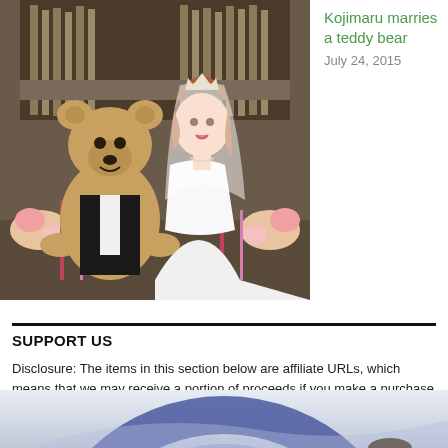[Figure (photo): A young woman in a wedding dress and veil holding a large teddy bear dressed in a tuxedo, inside a church decorated with candles and flowers.]
Kojimaru marries a teddy bear
July 24, 2015
SUPPORT US
Disclosure: The items in this section below are affiliate URLs, which means that we may receive a portion of proceeds if you make a purchase using these links.
[Figure (photo): Partial view of a circular logo or graphic with blue/purple ring shape on a light background, cropped at the bottom of the page.]